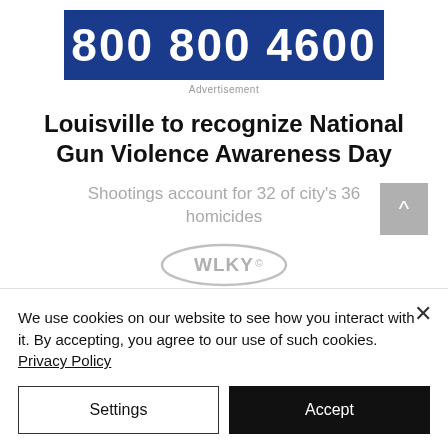[Figure (other): Blue advertisement banner with white bold text showing phone number 800 800 4600]
Advertisement
Louisville to recognize National Gun Violence Awareness Day
Shootings account for 32 of city's 36 homicides
[Figure (logo): WLKY television station logo in gray oval]
Updated: 5:19 PM EDT May 31, 2018
We use cookies on our website to see how you interact with it. By accepting, you agree to our use of such cookies. Privacy Policy